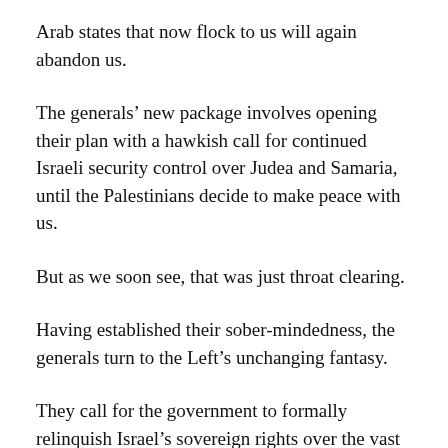Arab states that now flock to us will again abandon us.
The generals’ new package involves opening their plan with a hawkish call for continued Israeli security control over Judea and Samaria, until the Palestinians decide to make peace with us.
But as we soon see, that was just throat clearing.
Having established their sober-mindedness, the generals turn to the Left’s unchanging fantasy.
They call for the government to formally relinquish Israel’s sovereign rights over the vast majority of Judea and Samaria and eastern Jerusalem.
They call for the government to permanently stop